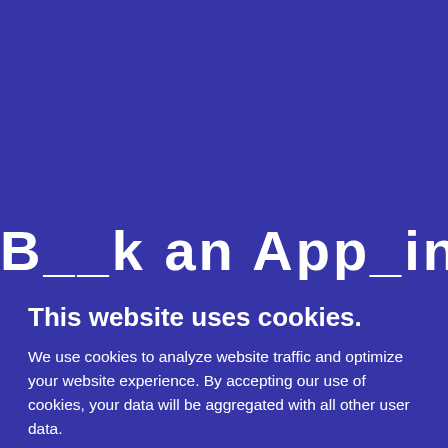We have a selection of brand name and used tires
Two Old Goats Mechanical Ltd
Cost is for service, tire
[Figure (other): Partially visible large heading text reading 'Book an Appointment' cropped by cookie banner]
This website uses cookies.
We use cookies to analyze website traffic and optimize your website experience. By accepting our use of cookies, your data will be aggregated with all other user data.
ACCEPT